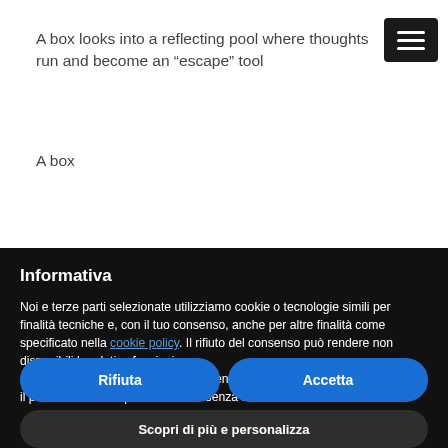A box looks into a reflecting pool where thoughts run and become an “escape” tool
A box
Informativa
Noi e terze parti selezionate utilizziamo cookie o tecnologie simili per finalità tecniche e, con il tuo consenso, anche per altre finalità come specificato nella cookie policy. Il rifiuto del consenso può rendere non disponibili le relative funzioni.
Usa il pulsante “Accetta” per acconsentire all’utilizzo di tali tecnologie. Usa il pulsante “Rifiuta” per continuare senza accettare.
Rifiuta
Accetta
Scopri di più e personalizza